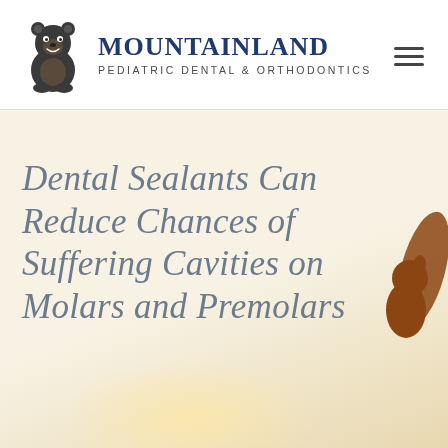[Figure (logo): Mountainland Pediatric Dental & Orthodontics logo with a bear mascot icon on the left, brand name in navy serif font, and subtitle in small caps]
Dental Sealants Can Reduce Chances of Suffering Cavities on Molars and Premolars